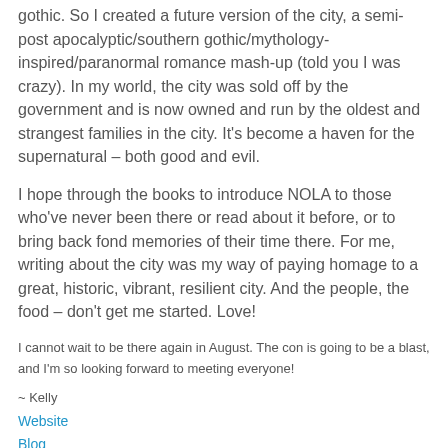gothic. So I created a future version of the city, a semi-post apocalyptic/southern gothic/mythology-inspired/paranormal romance mash-up (told you I was crazy). In my world, the city was sold off by the government and is now owned and run by the oldest and strangest families in the city. It's become a haven for the supernatural – both good and evil.
I hope through the books to introduce NOLA to those who've never been there or read about it before, or to bring back fond memories of their time there. For me, writing about the city was my way of paying homage to a great, historic, vibrant, resilient city. And the people, the food – don't get me started. Love!
I cannot wait to be there again in August. The con is going to be a blast, and I'm so looking forward to meeting everyone!
~ Kelly
Website
Blog